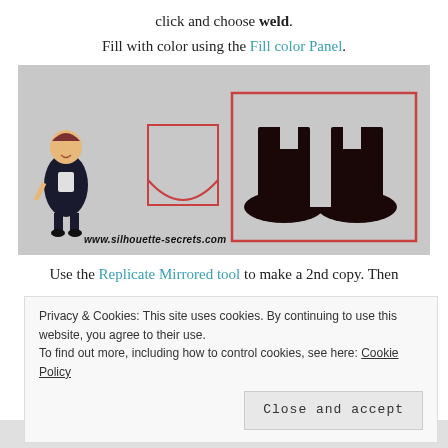click and choose weld.
Fill with color using the Fill color Panel.
[Figure (screenshot): Screenshot of Silhouette software showing two design panels. Left panel shows a red outlined rectangle and semicircle (weld shapes). Right panel shows the welded silhouette result as dark boots/legs shape. A cartoon woman character and the watermark www.silhouette-secrets.com appear at the bottom left.]
Use the Replicate Mirrored tool to make a 2nd copy. Then
Privacy & Cookies: This site uses cookies. By continuing to use this website, you agree to their use.
To find out more, including how to control cookies, see here: Cookie Policy
Close and accept